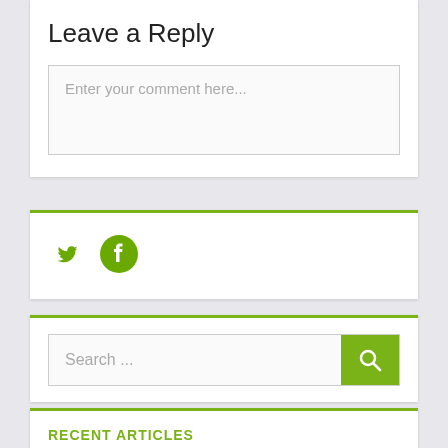Leave a Reply
Enter your comment here...
[Figure (other): Twitter and Facebook social media icons in green]
Search ...
RECENT ARTICLES